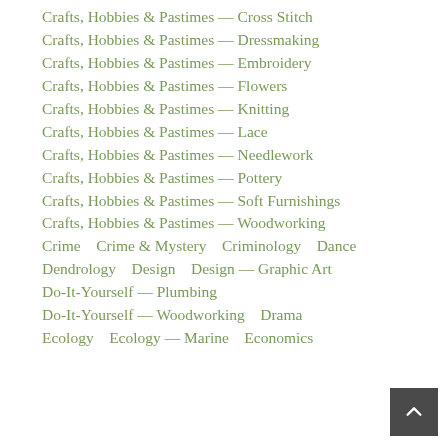Crafts, Hobbies & Pastimes — Cross Stitch
Crafts, Hobbies & Pastimes — Dressmaking
Crafts, Hobbies & Pastimes — Embroidery
Crafts, Hobbies & Pastimes — Flowers
Crafts, Hobbies & Pastimes — Knitting
Crafts, Hobbies & Pastimes — Lace
Crafts, Hobbies & Pastimes — Needlework
Crafts, Hobbies & Pastimes — Pottery
Crafts, Hobbies & Pastimes — Soft Furnishings
Crafts, Hobbies & Pastimes — Woodworking
Crime    Crime & Mystery    Criminology    Dance
Dendrology    Design    Design — Graphic Art
Do-It-Yourself — Plumbing
Do-It-Yourself — Woodworking    Drama
Ecology    Ecology — Marine    Economics